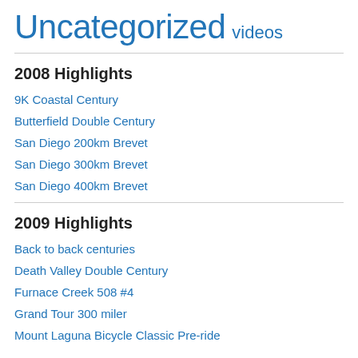Uncategorized videos
2008 Highlights
9K Coastal Century
Butterfield Double Century
San Diego 200km Brevet
San Diego 300km Brevet
San Diego 400km Brevet
2009 Highlights
Back to back centuries
Death Valley Double Century
Furnace Creek 508 #4
Grand Tour 300 miler
Mount Laguna Bicycle Classic Pre-ride